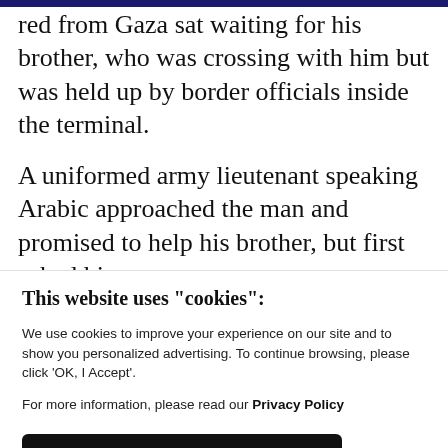…red from Gaza sat waiting for his brother, who was crossing with him but was held up by border officials inside the terminal.
A uniformed army lieutenant speaking Arabic approached the man and promised to help his brother, but first asked him dozens of questions about life in Gaza
This website uses "cookies":
We use cookies to improve your experience on our site and to show you personalized advertising. To continue browsing, please click 'OK, I Accept'.
For more information, please read our Privacy Policy
Ok, I Accept